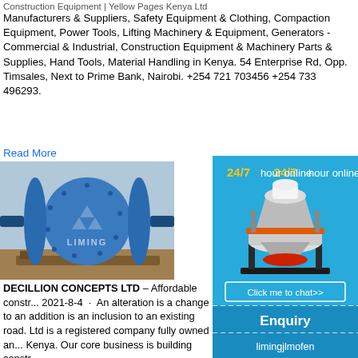Construction Equipment | Yellow Pages Kenya Ltd
Manufacturers & Suppliers, Safety Equipment & Clothing, Compaction Equipment, Power Tools, Lifting Machinery & Equipment, Generators - Commercial & Industrial, Construction Equipment & Machinery Parts & Supplies, Hand Tools, Material Handling in Kenya. 54 Enterprise Rd, Opp. Timsales, Next to Prime Bank, Nairobi. +254 721 703456 +254 733 496293.
Read More
[Figure (photo): Blue cylindrical ball mill machine branded LIMING, sitting on a pallet outdoors]
[Figure (photo): Advertisement panel with blue background showing a cone crusher machine, '24/7 hour online' text in white and yellow, 'Click me to chat>>' button, 'Enquiry' section, and 'limingjlmofen' username]
DECILLION CONCEPTS LTD – Affordable constr... 2021-8-4 · An alteration is a change to an addition is an inclusion to an existing road. Ltd is a registered company fully owned an... Kenya. Our core business is building constr...